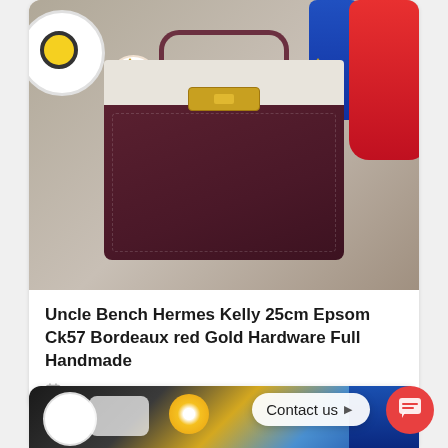[Figure (photo): Hermes Kelly 25cm handbag in dark bordeaux/burgundy leather with cream dust cover, gold hardware turnlock clasp, and top handle with gold hardware. Bag is surrounded by various toys and items in the background.]
Uncle Bench Hermes Kelly 25cm Epsom Ck57 Bordeaux red Gold Hardware Full Handmade
01/24/2022
[Figure (photo): Partial view of second product listing showing colorful background with flowers and dark items. Contact us button overlay visible.]